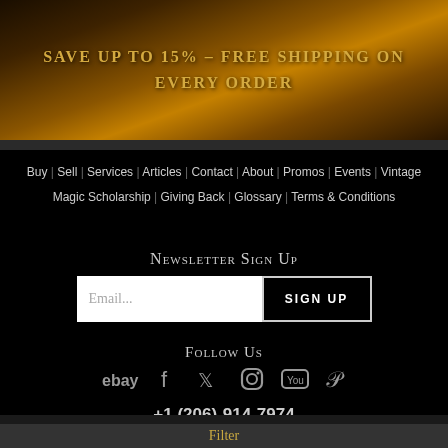[Figure (illustration): Dark fantasy-themed banner with golden/amber tones showing a treasure scene. Text overlay reads SAVE UP TO 15% - FREE SHIPPING ON EVERY ORDER in gold lettering.]
SAVE UP TO 15% – FREE SHIPPING ON EVERY ORDER
Buy | Sell | Services | Articles | Contact | About | Promos | Events | Vintage Magic Scholarship | Giving Back | Glossary | Terms & Conditions
Newsletter Sign Up
Email...
SIGN UP
Follow Us
[Figure (infographic): Social media icons row: ebay, Facebook, Twitter, Instagram, YouTube, Pinterest]
+1 (206)-914-7974
Vintage Magic, LLC PO Box #6266, Olympia, WA 98507-6266
VINTAGE MAGIC (partial logo)
Filter